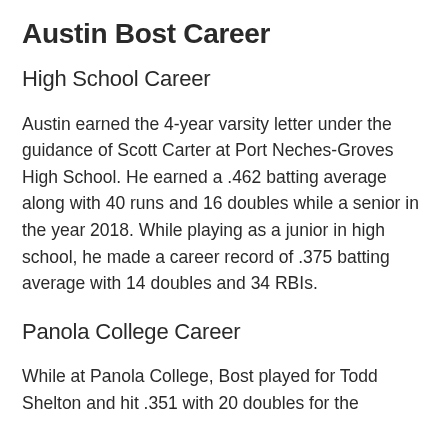Austin Bost Career
High School Career
Austin earned the 4-year varsity letter under the guidance of Scott Carter at Port Neches-Groves High School. He earned a .462 batting average along with 40 runs and 16 doubles while a senior in the year 2018. While playing as a junior in high school, he made a career record of .375 batting average with 14 doubles and 34 RBIs.
Panola College Career
While at Panola College, Bost played for Todd Shelton and hit .351 with 20 doubles for the